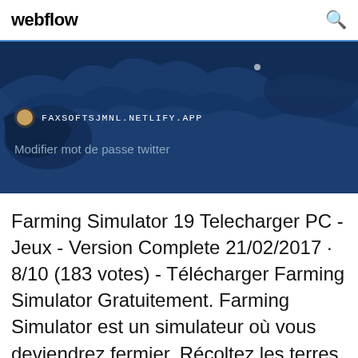webflow
[Figure (screenshot): A screenshot of a website showing a dark blue map background with a URL bar showing 'FAXSOFTSJMNL.NETLIFY.APP' and subtitle text 'Modifier mot de passe twitter']
Farming Simulator 19 Telecharger PC - Jeux - Version Complete 21/02/2017 · 8/10 (183 votes) - Télécharger Farming Simulator Gratuitement. Farming Simulator est un simulateur où vous deviendrez fermier. Récoltez les terres